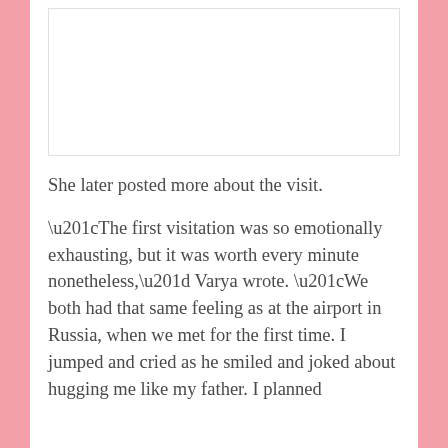[Figure (photo): A photo placeholder at the top of the page]
She later posted more about the visit.
“The first visitation was so emotionally exhausting, but it was worth every minute nonetheless,” Varya wrote. “We both had that same feeling as at the airport in Russia, when we met for the first time. I jumped and cried as he smiled and joked about hugging me like my father. I planned